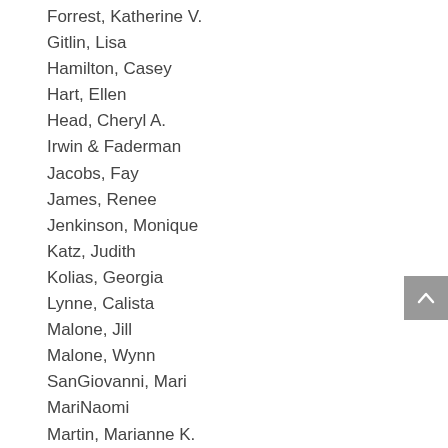Forrest, Katherine V.
Gitlin, Lisa
Hamilton, Casey
Hart, Ellen
Head, Cheryl A.
Irwin & Faderman
Jacobs, Fay
James, Renee
Jenkinson, Monique
Katz, Judith
Kolias, Georgia
Lynne, Calista
Malone, Jill
Malone, Wynn
SanGiovanni, Mari
MariNaomi
Martin, Marianne K.
Martinac, Paula
McMan, Ann